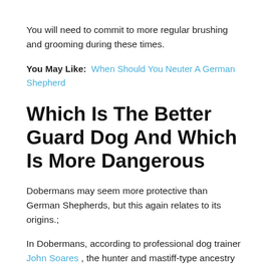You will need to commit to more regular brushing and grooming during these times.
You May Like:  When Should You Neuter A German Shepherd
Which Is The Better Guard Dog And Which Is More Dangerous
Dobermans may seem more protective than German Shepherds, but this again relates to its origins.;
In Dobermans, according to professional dog trainer John Soares , the hunter and mastiff-type ancestry causes them to vigorously defend their space biting only as a last resort.